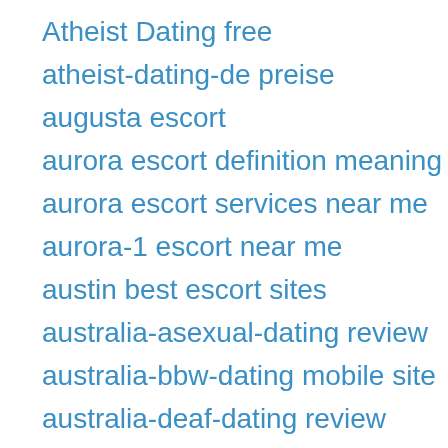Atheist Dating free
atheist-dating-de preise
augusta escort
aurora escort definition meaning
aurora escort services near me
aurora-1 escort near me
austin best escort sites
australia-asexual-dating review
australia-bbw-dating mobile site
australia-deaf-dating review
australia-interracial-dating review
australia-mature-dating mobile site
australian-chat-room mobile site
babel app
babel…